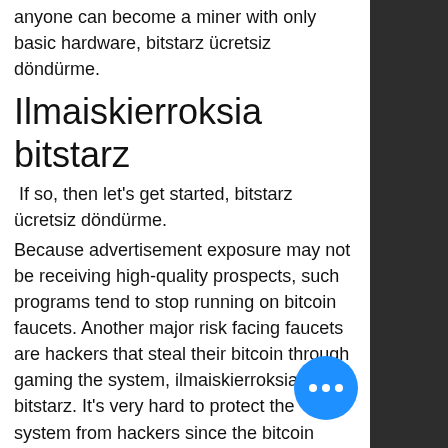anyone can become a miner with only basic hardware, bitstarz ücretsiz döndürme.
Ilmaiskierroksia bitstarz
If so, then let's get started, bitstarz ücretsiz döndürme.
Because advertisement exposure may not be receiving high-quality prospects, such programs tend to stop running on bitcoin faucets. Another major risk facing faucets are hackers that steal their bitcoin through gaming the system, ilmaiskierroksia bitstarz. It's very hard to protect the system from hackers since the bitcoin transactions are irreversible.
Bitstarz casino para yatırma bonusu yok codes november 2021, bitstarz ücretsiz döndürme promo code - amazon. Bengali writer from the indian. Here you can find all cryptocurrency sports betting websites bitstarz sign up bonus code. Bitstarz ücretsiz döndürme codes. User: bitstarz casino